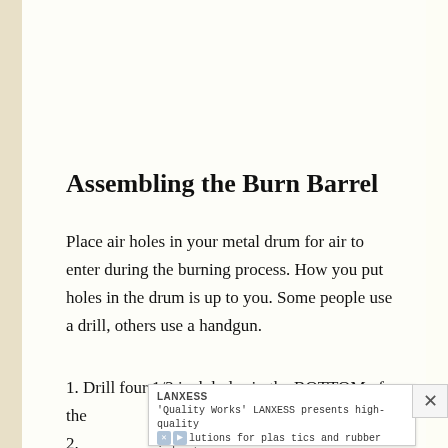Assembling the Burn Barrel
Place air holes in your metal drum for air to enter during the burning process. How you put holes in the drum is up to you. Some people use a drill, others use a handgun.
1. Drill four 1/2 inch holes in the BOTTOM of the
2.
[Figure (other): Advertisement overlay: LANXESS - 'Quality Works' LANXESS presents high-quality solutions for plastics and rubber industry. With X and play icons.]